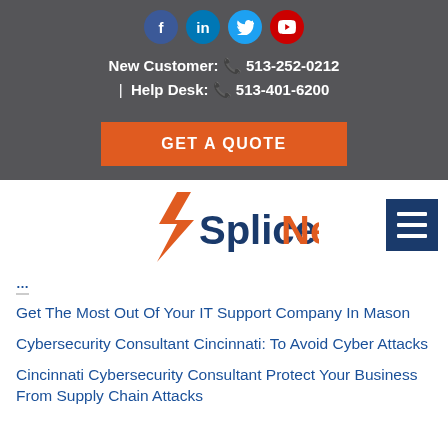[Figure (logo): Social media icons: Facebook (blue circle), LinkedIn (teal circle), Twitter (light blue circle), YouTube (red circle)]
New Customer: 513-252-0212 | Help Desk: 513-401-6200
GET A QUOTE
[Figure (logo): SpliceNet logo with orange lightning bolt S and dark blue text, plus hamburger menu icon]
Get The Most Out Of Your IT Support Company In Mason
Cybersecurity Consultant Cincinnati: To Avoid Cyber Attacks
Cincinnati Cybersecurity Consultant Protect Your Business From Supply Chain Attacks